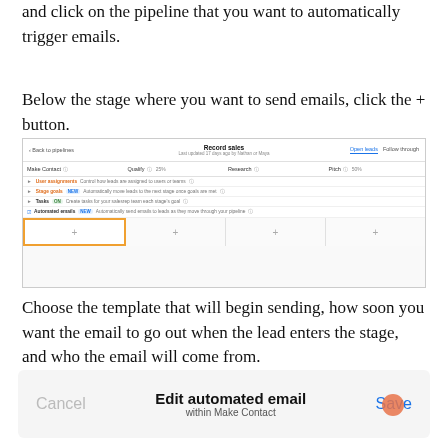and click on the pipeline that you want to automatically trigger emails.
Below the stage where you want to send emails, click the + button.
[Figure (screenshot): Screenshot of a CRM pipeline view titled 'Record sales' showing columns Make Contact, Qualify (25%), Research, Pitch (50%) with rows for User assignments, Stage goals, Tasks, and Automated emails. The first column's + button cell is highlighted with an orange border.]
Choose the template that will begin sending, how soon you want the email to go out when the lead enters the stage, and who the email will come from.
[Figure (screenshot): Modal dialog bottom bar showing Cancel button on left, 'Edit automated email / within Make Contact' title in center, and Save button in blue on right, with an orange circle icon at bottom right.]